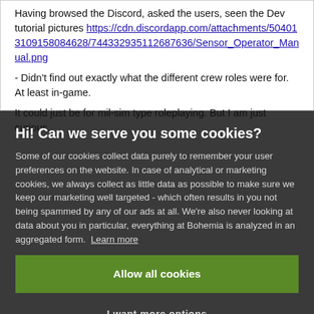Having browsed the Discord, asked the users, seen the Dev tutorial pictures https://cdn.discordapp.com/attachments/504013109158084628/744332935112687636/Sensor_Operator_Manual.png
- Didn't find out exactly what the different crew roles were for. At least in-game.
It could just be for mil-sim type roleplaying. But I am just curious.
Hi! Can we serve you some cookies?
Some of our cookies collect data purely to remember your user preferences on the website. In case of analytical or marketing cookies, we always collect as little data as possible to make sure we keep our marketing well targeted - which often results in you not being spammed by any of our ads at all. We're also never looking at data about you in particular, everything at Bohemia is analyzed in an aggregated form. Learn more
Allow all cookies
I want more options